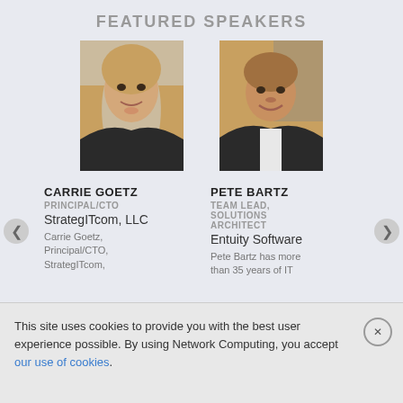FEATURED SPEAKERS
[Figure (photo): Headshot of Carrie Goetz, a woman with blonde hair wearing a black jacket]
[Figure (photo): Headshot of Pete Bartz, a man smiling in a blazer with a warm-toned background]
CARRIE GOETZ
PRINCIPAL/CTO
StrategITcom, LLC
Carrie Goetz, Principal/CTO, StrategITcom,
PETE BARTZ
TEAM LEAD, SOLUTIONS ARCHITECT
Entuity Software
Pete Bartz has more than 35 years of IT
This site uses cookies to provide you with the best user experience possible. By using Network Computing, you accept our use of cookies.